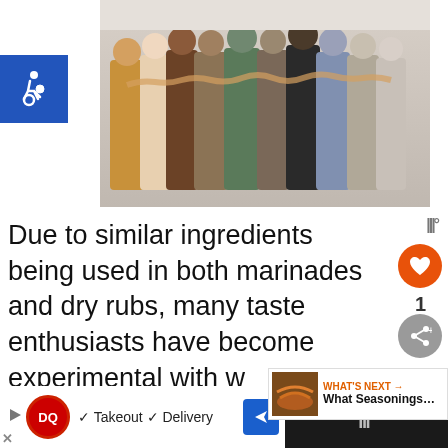Together
[Figure (photo): Group of people standing together arm in arm, viewed from behind, against a light wall]
Due to similar ingredients being used in both marinades and dry rubs, many taste enthusiasts have become experimental with what type of liquids they add to the
[Figure (infographic): WHAT'S NEXT arrow panel with thumbnail image of grilled food and text 'What Seasonings...']
[Figure (screenshot): Bottom advertisement bar: Dairy Queen ad with Takeout and Delivery checkmarks, DQ logo, and navigation icon; right side dark panel with Wunderbucket logo]